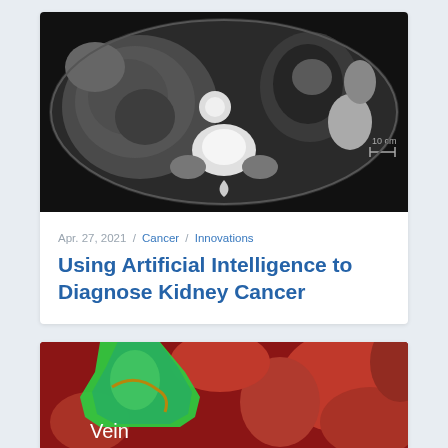[Figure (photo): Axial CT scan of abdomen showing kidney with large mass, in grayscale. A scale marker '10 cm' is visible on the right side.]
Apr. 27, 2021 / Cancer / Innovations
Using Artificial Intelligence to Diagnose Kidney Cancer
[Figure (photo): Surgical photograph showing a green-colored vein retractor during an operation. The word 'Vein' is overlaid in white text on the green instrument. Red tissue visible in background.]